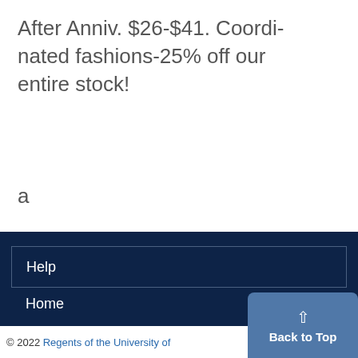After Anniv. $26-$41. Coordinated fashions-25% off our entire stock!
a
| |
Help
Home
© 2022 Regents of the University of
Back to Top